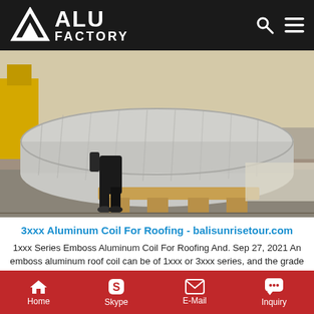ALU FACTORY
[Figure (photo): Factory workers handling a large wrapped aluminum coil roll on a warehouse floor]
3xxx Aluminum Coil For Roofing - balisunrisetour.com
1xxx Series Emboss Aluminum Coil For Roofing And. Sep 27, 2021 An emboss aluminum roof coil can be of 1xxx or 3xxx series, and the grade of 1xxx falls on 1100, the hardest and most corrosion resistant of pure industrial aluminium. 1100 aluminium
Home  Skype  E-Mail  Inquiry